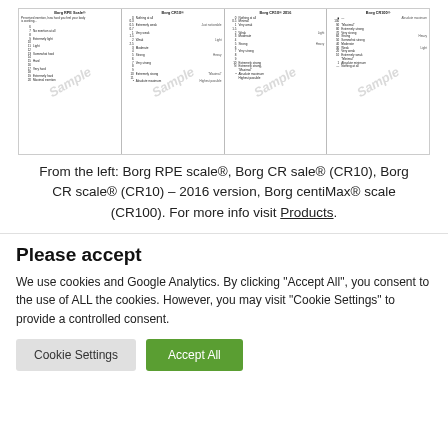[Figure (illustration): Four Borg rating scales side by side: Borg RPE scale, Borg CR scale (CR10), Borg CR scale (CR10) 2016 version, and Borg centiMax scale (CR100). Each shows numeric ratings with verbal descriptors. All panels carry a diagonal 'Sample' watermark.]
From the left: Borg RPE scale®, Borg CR sale® (CR10), Borg CR scale® (CR10) – 2016 version, Borg centiMax® scale (CR100). For more info visit Products.
Please accept
We use cookies and Google Analytics. By clicking “Accept All”, you consent to the use of ALL the cookies. However, you may visit “Cookie Settings” to provide a controlled consent.